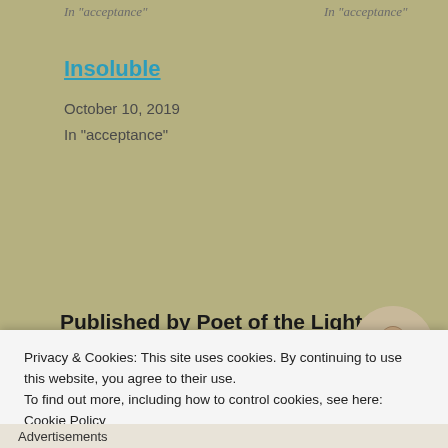In "acceptance"    In "acceptance"
Insoluble
October 10, 2019
In "acceptance"
Published by Poet of the Light
I'm a deep visualizing poet creating particular facets, not only line by line, but even the shades
[Figure (photo): Circular author portrait photo of a man, black and white]
Privacy & Cookies: This site uses cookies. By continuing to use this website, you agree to their use.
To find out more, including how to control cookies, see here: Cookie Policy
Close and accept
Advertisements